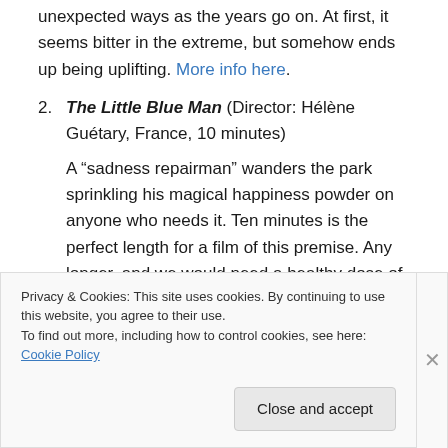unexpected ways as the years go on. At first, it seems bitter in the extreme, but somehow ends up being uplifting. More info here.
The Little Blue Man (Director: Hélène Guétary, France, 10 minutes)
A “sadness repairman” wanders the park sprinkling his magical happiness powder on anyone who needs it. Ten minutes is the perfect length for a film of this premise. Any longer, and we would need a healthy dose of brooding moral ambiguity, and the grander
Privacy & Cookies: This site uses cookies. By continuing to use this website, you agree to their use.
To find out more, including how to control cookies, see here: Cookie Policy
Close and accept